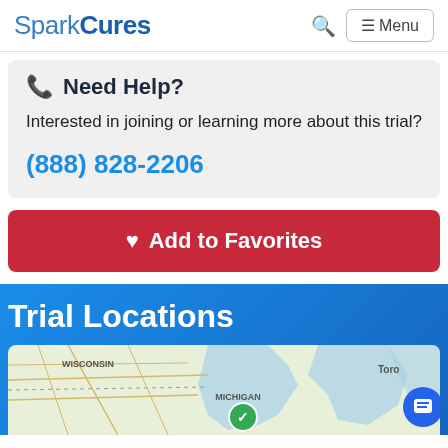SparkCures
Need Help?
Interested in joining or learning more about this trial?
(888) 828-2206
♥ Add to Favorites
Trial Locations
[Figure (map): Map showing US Midwest and Great Lakes region including Wisconsin, Michigan, and Ontario (Toronto partially visible), with a green checkmark location marker near Michigan.]